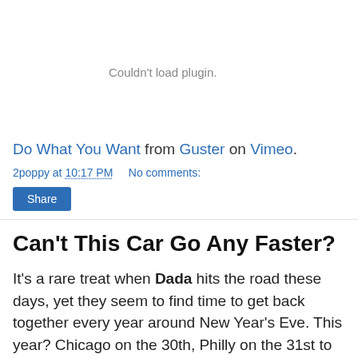[Figure (other): Embedded video plugin area showing 'Couldn't load plugin.' message]
Do What You Want from Guster on Vimeo.
2poppy at 10:17 PM   No comments:
Share
Can't This Car Go Any Faster?
It's a rare treat when Dada hits the road these days, yet they seem to find time to get back together every year around New Year's Eve. This year? Chicago on the 30th, Philly on the 31st to bid adieu to 2010, and Boston on the 1st to